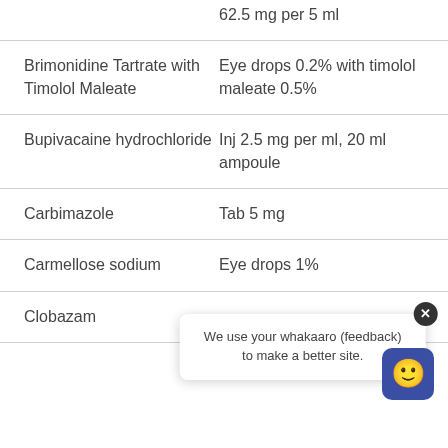| Drug | Formulation |
| --- | --- |
|  | 62.5 mg per 5 ml |
| Brimonidine Tartrate with Timolol Maleate | Eye drops 0.2% with timolol maleate 0.5% |
| Bupivacaine hydrochloride | Inj 2.5 mg per ml, 20 ml ampoule |
| Carbimazole | Tab 5 mg |
| Carmellose sodium | Eye drops 1% |
| Clobazam |  |
We use your whakaaro (feedback) to make a better site.